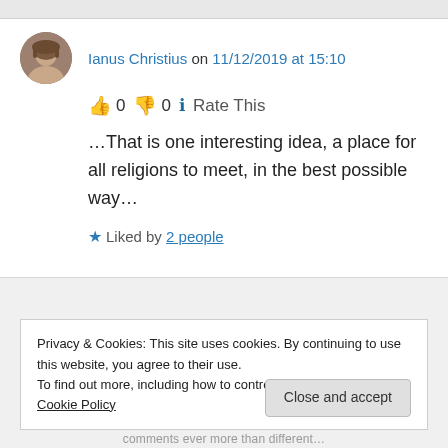Ianus Christius on 11/12/2019 at 15:10
👍 0 👎 0 ℹ Rate This
…That is one interesting idea, a place for all religions to meet, in the best possible way…
★ Liked by 2 people
Log in to Reply
Privacy & Cookies: This site uses cookies. By continuing to use this website, you agree to their use.
To find out more, including how to control cookies, see here: Cookie Policy
Close and accept